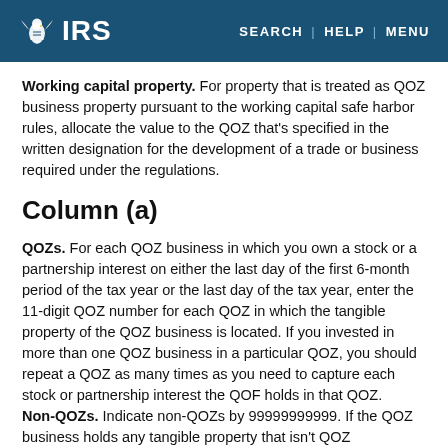IRS | SEARCH | HELP | MENU
Working capital property. For property that is treated as QOZ business property pursuant to the working capital safe harbor rules, allocate the value to the QOZ that's specified in the written designation for the development of a trade or business required under the regulations.
Column (a)
QOZs. For each QOZ business in which you own a stock or a partnership interest on either the last day of the first 6-month period of the tax year or the last day of the tax year, enter the 11-digit QOZ number for each QOZ in which the tangible property of the QOZ business is located. If you invested in more than one QOZ business in a particular QOZ, you should repeat a QOZ as many times as you need to capture each stock or partnership interest the QOF holds in that QOZ.
Non-QOZs. Indicate non-QOZs by 99999999999. If the QOZ business holds any tangible property that isn't QOZ